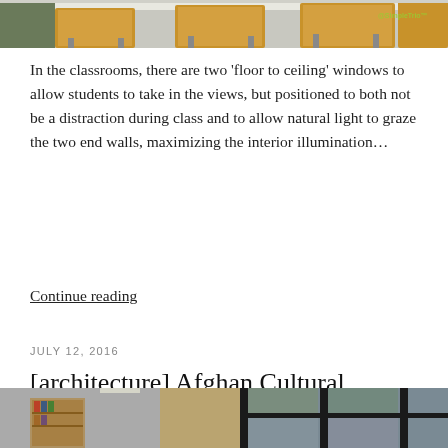[Figure (photo): Top portion of a classroom rendering showing desks with wooden tops and metal frames, with a watermark reading '@SimpleTrio™' in the upper right corner]
In the classrooms, there are two 'floor to ceiling' windows to allow students to take in the views, but positioned to both not be a distraction during class and to allow natural light to graze the two end walls, maximizing the interior illumination…
Continue reading
JULY 12, 2016
[architecture] Afghan Cultural Centre 16/24
[Figure (photo): Bottom portion showing interior architectural rendering of Afghan Cultural Centre with large floor-to-ceiling windows, dark frames, and corridor]